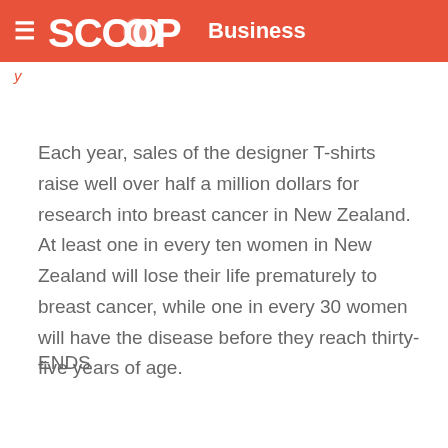SCOOP Business
y
Each year, sales of the designer T-shirts raise well over half a million dollars for research into breast cancer in New Zealand. At least one in every ten women in New Zealand will lose their life prematurely to breast cancer, while one in every 30 women will have the disease before they reach thirty-five years of age.
ENDS